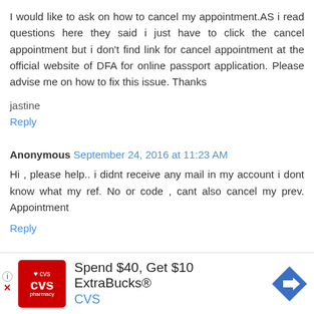I would like to ask on how to cancel my appointment.AS i read questions here they said i just have to click the cancel appointment but i don't find link for cancel appointment at the official website of DFA for online passport application. Please advise me on how to fix this issue. Thanks
jastine
Reply
Anonymous  September 24, 2016 at 11:23 AM
Hi , please help.. i didnt receive any mail in my account i dont know what my ref. No or code , cant also cancel my prev. Appointment
Reply
[Figure (other): CVS Pharmacy advertisement banner: Spend $40, Get $10 ExtraBucks® CVS, with CVS logo and navigation arrow icon]